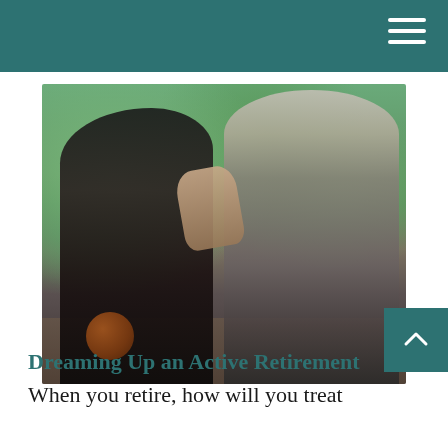[Figure (photo): An elderly man and a young child giving each other a high-five on an outdoor basketball court, both smiling. The child holds a basketball. Green trees are visible in the background.]
Dreaming Up an Active Retirement
When you retire, how will you treat